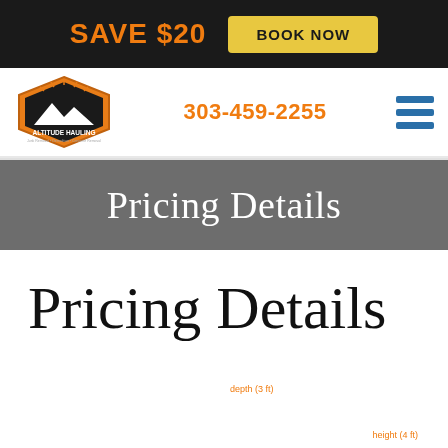SAVE $20   BOOK NOW
[Figure (logo): Altitude Hauling company logo - hexagonal orange badge with mountain silhouette]
303-459-2255
Pricing Details
Pricing Details
depth (3 ft)
height (4 ft)